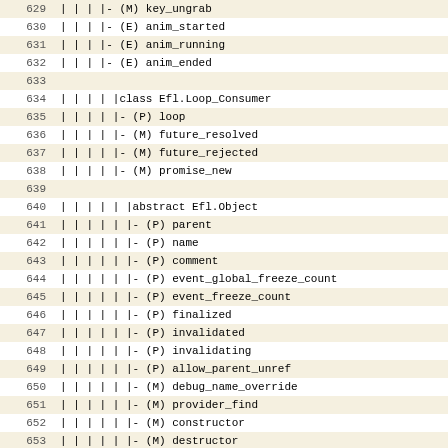| 629 | | | | |- (M) key_ungrab |
| 630 | | | | |- (E) anim_started |
| 631 | | | | |- (E) anim_running |
| 632 | | | | |- (E) anim_ended |
| 633 |  |
| 634 | | | | | |class Efl.Loop_Consumer |
| 635 | | | | | |- (P) loop |
| 636 | | | | | |- (M) future_resolved |
| 637 | | | | | |- (M) future_rejected |
| 638 | | | | | |- (M) promise_new |
| 639 |  |
| 640 | | | | | | |abstract Efl.Object |
| 641 | | | | | | |- (P) parent |
| 642 | | | | | | |- (P) name |
| 643 | | | | | | |- (P) comment |
| 644 | | | | | | |- (P) event_global_freeze_count |
| 645 | | | | | | |- (P) event_freeze_count |
| 646 | | | | | | |- (P) finalized |
| 647 | | | | | | |- (P) invalidated |
| 648 | | | | | | |- (P) invalidating |
| 649 | | | | | | |- (P) allow_parent_unref |
| 650 | | | | | | |- (M) debug_name_override |
| 651 | | | | | | |- (M) provider_find |
| 652 | | | | | | |- (M) constructor |
| 653 | | | | | | |- (M) destructor |
| 654 | | | | | | |- (M) finalize |